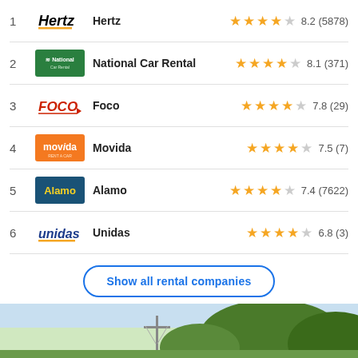1 Hertz 8.2 (5878)
2 National Car Rental 8.1 (371)
3 Foco 7.8 (29)
4 Movida 7.5 (7)
5 Alamo 7.4 (7622)
6 Unidas 6.8 (3)
Show all rental companies
[Figure (photo): Outdoor landscape photo with a utility pole and trees visible at the bottom of the page]